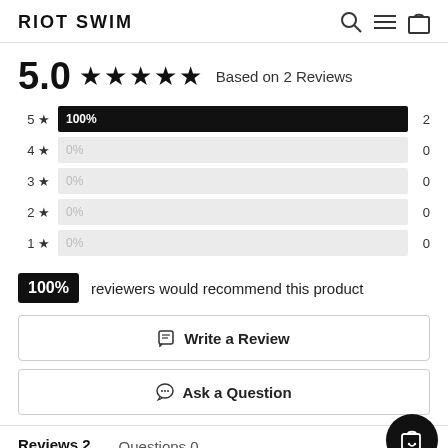RIOT SWIM
5.0 ★★★★★ Based on 2 Reviews
[Figure (bar-chart): Star rating distribution]
100% reviewers would recommend this product
✎ Write a Review
💬 Ask a Question
Reviews 2    Questions 0